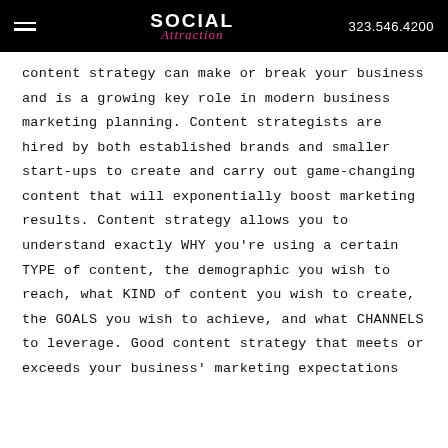SOCIAL Attraction  323.546.4200
content strategy can make or break your business and is a growing key role in modern business marketing planning. Content strategists are hired by both established brands and smaller start-ups to create and carry out game-changing content that will exponentially boost marketing results. Content strategy allows you to understand exactly WHY you're using a certain TYPE of content, the demographic you wish to reach, what KIND of content you wish to create, the GOALS you wish to achieve, and what CHANNELS to leverage. Good content strategy that meets or exceeds your business' marketing expectations